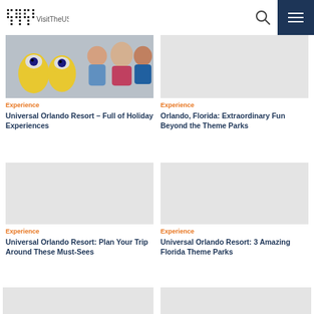VisitTheUSA.ca
[Figure (photo): Photo of Minion characters and children at Universal Orlando Resort]
Experience
Universal Orlando Resort – Full of Holiday Experiences
[Figure (photo): Gray placeholder image for Orlando Florida article]
Experience
Orlando, Florida: Extraordinary Fun Beyond the Theme Parks
[Figure (photo): Gray placeholder image for Universal Orlando Resort Plan Your Trip article]
Experience
Universal Orlando Resort: Plan Your Trip Around These Must-Sees
[Figure (photo): Gray placeholder image for Universal Orlando Resort 3 Amazing Florida Theme Parks article]
Experience
Universal Orlando Resort: 3 Amazing Florida Theme Parks
[Figure (photo): Gray placeholder image bottom left]
[Figure (photo): Gray placeholder image bottom right]